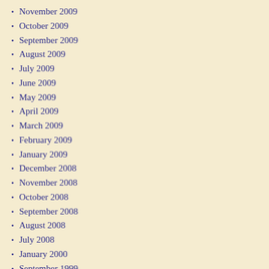November 2009
October 2009
September 2009
August 2009
July 2009
June 2009
May 2009
April 2009
March 2009
February 2009
January 2009
December 2008
November 2008
October 2008
September 2008
August 2008
July 2008
January 2000
September 1999
July 1998
May 1998
September 1997